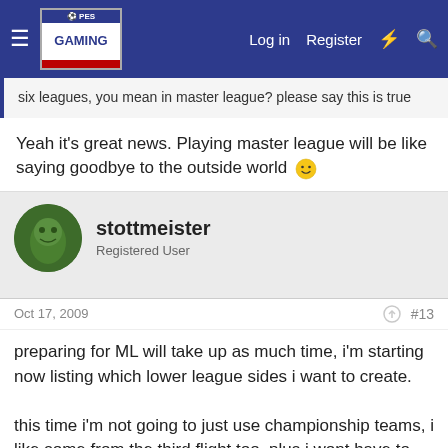PESGaming — Log in | Register
six leagues, you mean in master league? please say this is true
Yeah it's great news. Playing master league will be like saying goodbye to the outside world 🙂
stottmeister
Registered User
Oct 17, 2009  #13
preparing for ML will take up as much time, i'm starting now listing which lower league sides i want to create.

this time i'm not going to just use championship teams, i like some from the third flight too. plus i wont have to [Close X] on with player lil [abilities] to [?][X] [te] to leagu